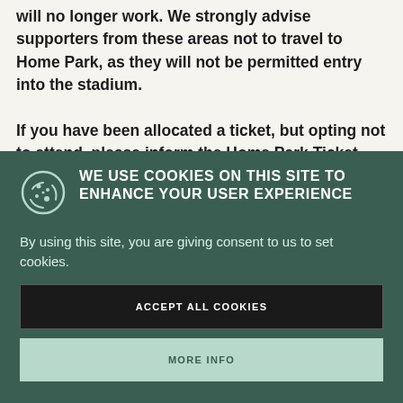will no longer work. We strongly advise supporters from these areas not to travel to Home Park, as they will not be permitted entry into the stadium.

If you have been allocated a ticket, but opting not to attend, please inform the Home Park Ticket Office at the earliest opportunity so that your seat can be...
WE USE COOKIES ON THIS SITE TO ENHANCE YOUR USER EXPERIENCE
By using this site, you are giving consent to us to set cookies.
ACCEPT ALL COOKIES
MORE INFO